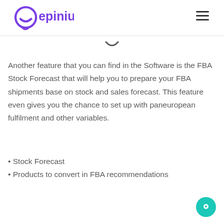epinium
Another feature that you can find in the Software is the FBA Stock Forecast that will help you to prepare your FBA shipments base on stock and sales forecast. This feature even gives you the chance to set up with paneuropean fulfilment and other variables.
• Stock Forecast
• Products to convert in FBA recommendations